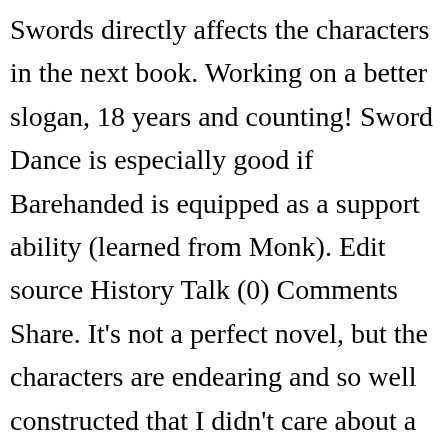Swords directly affects the characters in the next book. Working on a better slogan, 18 years and counting! Sword Dance is especially good if Barehanded is equipped as a support ability (learned from Monk). Edit source History Talk (0) Comments Share. It's not a perfect novel, but the characters are endearing and so well constructed that I didn't care about a few imperfections. Damiskos and Varazda are something of an odd couple and for the first half of the book, they tend to spar with one another more often than not. im just curious. Swords Dance is a Normal-type move